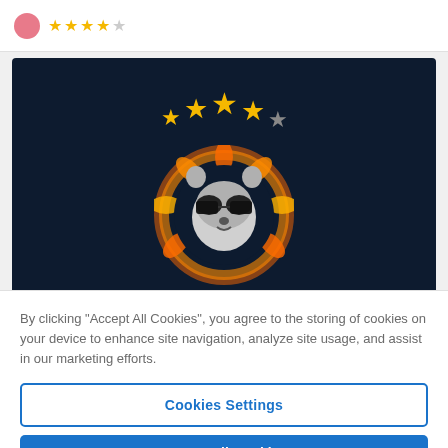[Figure (illustration): Pink avatar circle icon with 4 gold stars and 1 gray star rating shown in a white top bar]
[Figure (illustration): Dark navy background promotional image showing a raccoon with sunglasses in a flaming circle, surrounded by 4 gold stars and 1 gray star in an arc. Text below reads TOP TIPSTER in gold bold italic letters.]
By clicking "Accept All Cookies", you agree to the storing of cookies on your device to enhance site navigation, analyze site usage, and assist in our marketing efforts.
Cookies Settings
Accept All Cookies